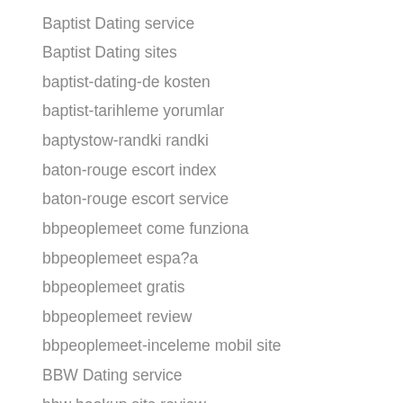Baptist Dating service
Baptist Dating sites
baptist-dating-de kosten
baptist-tarihleme yorumlar
baptystow-randki randki
baton-rouge escort index
baton-rouge escort service
bbpeoplemeet come funziona
bbpeoplemeet espa?a
bbpeoplemeet gratis
bbpeoplemeet review
bbpeoplemeet-inceleme mobil site
BBW Dating service
bbw hookup site review
bbwcupid app